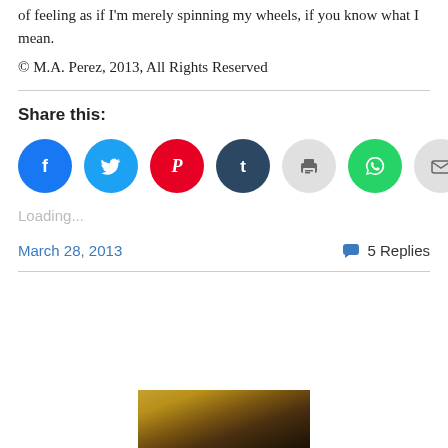of feeling as if I'm merely spinning my wheels, if you know what I mean.
© M.A. Perez, 2013, All Rights Reserved
Share this:
[Figure (infographic): Social sharing icons: Facebook (blue), Twitter (cyan), Pinterest (red), Tumblr (dark blue), Print (light gray), WhatsApp (green), Email (light gray)]
Loading...
March 28, 2013
5 Replies
[Figure (photo): Partial photo of a person's hair/head at bottom of page]